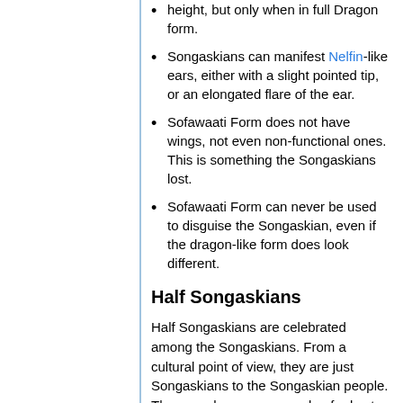height, but only when in full Dragon form.
Songaskians can manifest Nelfin-like ears, either with a slight pointed tip, or an elongated flare of the ear.
Sofawaati Form does not have wings, not even non-functional ones. This is something the Songaskians lost.
Sofawaati Form can never be used to disguise the Songaskian, even if the dragon-like form does look different.
Half Songaskians
Half Songaskians are celebrated among the Songaskians. From a cultural point of view, they are just Songaskians to the Songaskian people. There are however a couple of rules to apply to Half